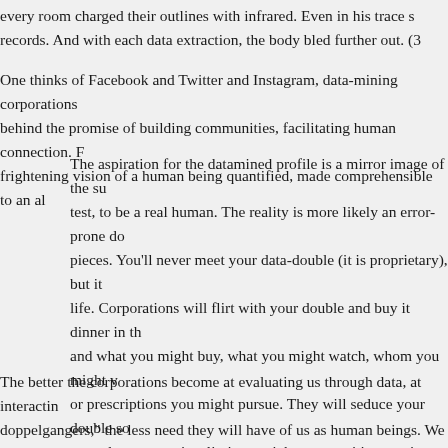every room charged their outlines with infrared. Even in his trace s records. And with each data extraction, the body bled further out. (3
One thinks of Facebook and Twitter and Instagram, data-mining corporations behind the promise of building communities, facilitating human connection. R frightening vision of a human being quantified, made comprehensible to an al
The aspiration for the datamined profile is a mirror image of the su test, to be a real human. The reality is more likely an error-prone do pieces. You'll never meet your data-double (it is proprietary), but it life. Corporations will flirt with your double and buy it dinner in th and what you might buy, what you might watch, whom you might v or prescriptions you might pursue. They will seduce your double so you a loan or service, limit your job opportunities, or give you a lor eagerly tells wacky half-truths about you to whomever will buy it a
The better the corporations become at evaluating us through data, at interactin doppelgangers," the less need they will have of us as human beings. We are in usurping us.